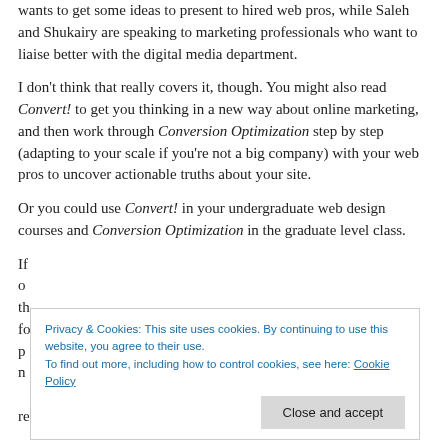wants to get some ideas to present to hired web pros, while Saleh and Shukairy are speaking to marketing professionals who want to liaise better with the digital media department.
I don't think that really covers it, though. You might also read Convert! to get you thinking in a new way about online marketing, and then work through Conversion Optimization step by step (adapting to your scale if you're not a big company) with your web pros to uncover actionable truths about your site.
Or you could use Convert! in your undergraduate web design courses and Conversion Optimization in the graduate level class.
If [partial text obscured by cookie banner] results we see and some new examples to share with clients
[Figure (screenshot): Cookie consent banner overlay with blue text reading 'Privacy & Cookies: This site uses cookies. By continuing to use this website, you agree to their use. To find out more, including how to control cookies, see here: Cookie Policy' and a gray 'Close and accept' button.]